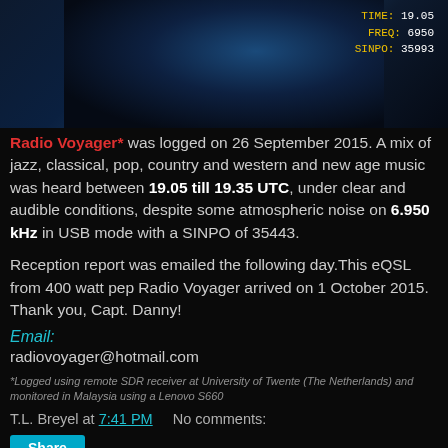[Figure (photo): Dark blue themed image of Radio Voyager with overlaid text showing TIME: 19.05, FREQ: 6950, SINPO: 35993]
Radio Voyager* was logged on 26 September 2015. A mix of jazz, classical, pop, country and western and new age music was heard between 19.05 till 19.35 UTC, under clear and audible conditions, despite some atmospheric noise on 6.950 kHz in USB mode with a SINPO of 35443.
Reception report was emailed the following day.This eQSL from 400 watt pep Radio Voyager arrived on 1 October 2015. Thank you, Capt. Danny!
Email:
radiovoyager@hotmail.com
*Logged using remote SDR receiver at University of Twente (The Netherlands) and monitored in Malaysia using a Lenovo S660
T.L. Breyel at 7:41 PM    No comments:
Share